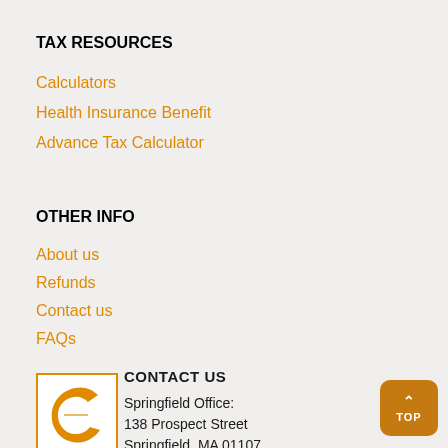TAX RESOURCES
Calculators
Health Insurance Benefit
Advance Tax Calculator
OTHER INFO
About us
Refunds
Contact us
FAQs
[Figure (logo): Orange letter C logo in a square border]
CONTACT US
Springfield Office:
138 Prospect Street
Springfield, MA 01107
413-732-7217

Boston Office: